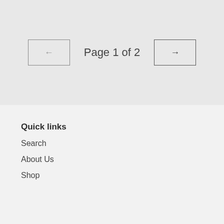Page 1 of 2
Quick links
Search
About Us
Shop